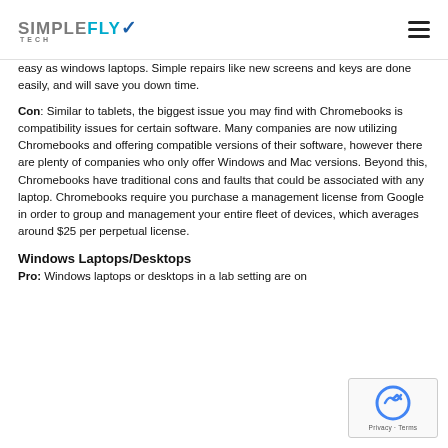SIMPLEFLY TECH
easy as windows laptops. Simple repairs like new screens and keys are done easily, and will save you down time.
Con: Similar to tablets, the biggest issue you may find with Chromebooks is compatibility issues for certain software. Many companies are now utilizing Chromebooks and offering compatible versions of their software, however there are plenty of companies who only offer Windows and Mac versions. Beyond this, Chromebooks have traditional cons and faults that could be associated with any laptop. Chromebooks require you purchase a management license from Google in order to group and management your entire fleet of devices, which averages around $25 per perpetual license.
Windows Laptops/Desktops
Pro: Windows laptops or desktops in a lab setting are on